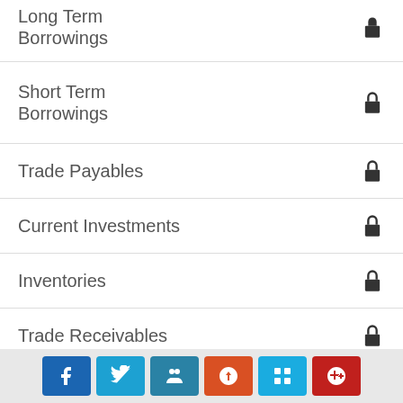Long Term Borrowings
Short Term Borrowings
Trade Payables
Current Investments
Inventories
Trade Receivables
Cash and Bank Balances
Profit & Loss
[Figure (other): Social media sharing buttons: Facebook, Twitter, MySpace, StumbleUpon, Delicious, Google+]